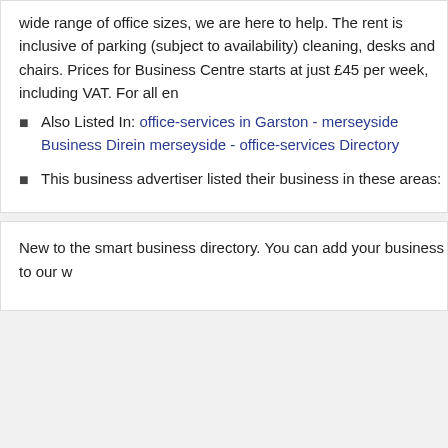wide range of office sizes, we are here to help. The rent is inclusive of parking (subject to availability) cleaning, desks and chairs. Prices for Business Centre starts at just £45 per week, including VAT. For all en
Also Listed In: office-services in Garston - merseyside Business Dire... in merseyside - office-services Directory
This business advertiser listed their business in these areas:
New to the smart business directory. You can add your business to our w...